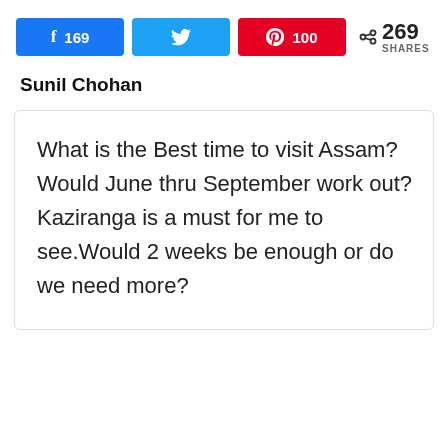[Figure (infographic): Social share bar with Facebook (169), Twitter, Pinterest (100) buttons, and total 269 SHARES]
Sunil Chohan
What is the Best time to visit Assam? Would June thru September work out? Kaziranga is a must for me to see.Would 2 weeks be enough or do we need more?